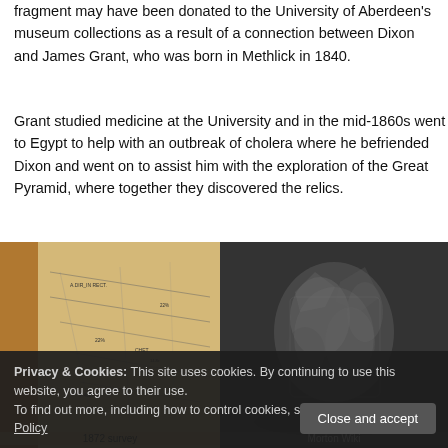fragment may have been donated to the University of Aberdeen's museum collections as a result of a connection between Dixon and James Grant, who was born in Methlick in 1840.
Grant studied medicine at the University and in the mid-1860s went to Egypt to help with an outbreak of cholera where he befriended Dixon and went on to assist him with the exploration of the Great Pyramid, where together they discovered the relics.
[Figure (photo): Old map or survey drawing with lines and annotations, 1872 survey]
1872 survey
[Figure (photo): Black and white photograph showing people or objects in a dark cave or pyramid interior, Morton Wiki]
Morton Wiki
Privacy & Cookies: This site uses cookies. By continuing to use this website, you agree to their use.
To find out more, including how to control cookies, see here: Our Cookie Policy